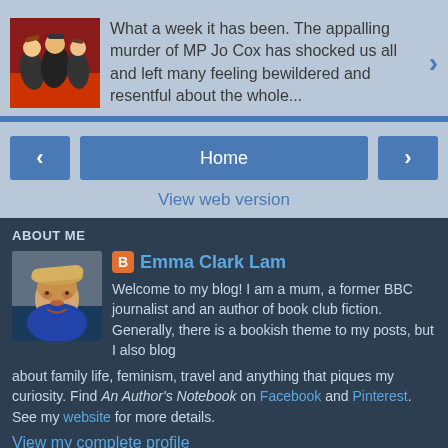[Figure (photo): Thumbnail image of a theatrical or entertainment scene with figures in colorful costumes on a red background]
What a week it has been. The appalling murder of MP Jo Cox has shocked us all and left many feeling bewildered and resentful about the whole...
Home
View web version
ABOUT ME
[Figure (photo): Profile photo of Emma Clark Lam, a woman with short blonde hair wearing a blue top and a straw hat]
Emma Clark Lam
Welcome to my blog! I am a mum, a former BBC journalist and an author of book club fiction. Generally, there is a bookish theme to my posts, but I also blog about family life, feminism, travel and anything that piques my curiosity. Find An Author's Notebook on Facebook and Pinterest. See my website for more details.
View my complete profile
Powered by Blogger.